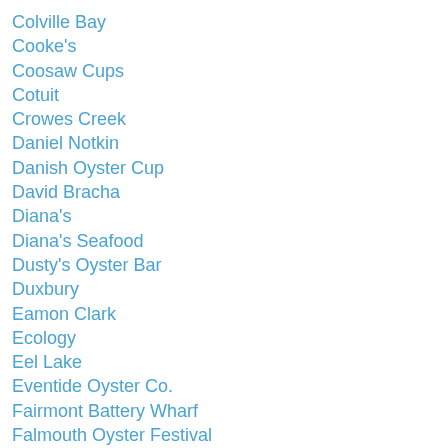Colville Bay
Cooke's
Coosaw Cups
Cotuit
Crowes Creek
Daniel Notkin
Danish Oyster Cup
David Bracha
Diana's
Diana's Seafood
Dusty's Oyster Bar
Duxbury
Eamon Clark
Ecology
Eel Lake
Eventide Oyster Co.
Fairmont Battery Wharf
Falmouth Oyster Festival
Finally J.P.s
Fines De Claires